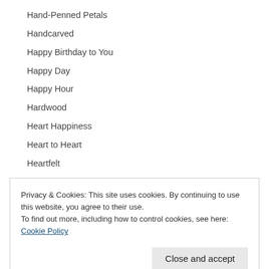Hand-Penned Petals
Handcarved
Happy Birthday to You
Happy Day
Happy Hour
Hardwood
Heart Happiness
Heart to Heart
Heartfelt
Privacy & Cookies: This site uses cookies. By continuing to use this website, you agree to their use.
To find out more, including how to control cookies, see here: Cookie Policy
Hello You Thinlits